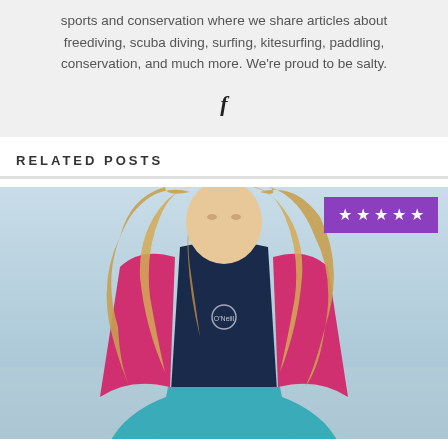sports and conservation where we share articles about freediving, scuba diving, surfing, kitesurfing, paddling, conservation, and much more. We're proud to be salty.
[Figure (logo): Facebook icon (letter f)]
RELATED POSTS
[Figure (photo): Woman wearing a teal, pink and dark blue wetsuit (O'Neill brand) with long blonde hair, standing outdoors near the ocean. A purple star rating badge (5 stars) is overlaid in the top right corner.]